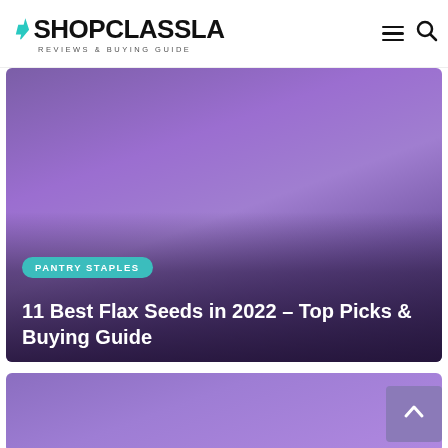SHOPCLASSLA — REVIEWS & BUYING GUIDE
[Figure (photo): Purple gradient hero image for article about flax seeds, with a teal 'PANTRY STAPLES' badge and white article title text at the bottom]
11 Best Flax Seeds in 2022 – Top Picks & Buying Guide
[Figure (photo): Second article card with purple gradient background, partially visible at bottom of page]